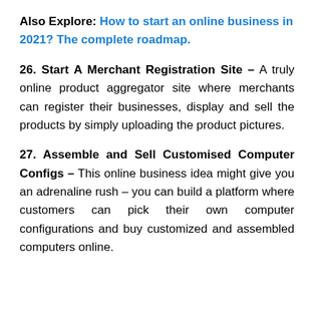Also Explore: How to start an online business in 2021? The complete roadmap.
26. Start A Merchant Registration Site – A truly online product aggregator site where merchants can register their businesses, display and sell the products by simply uploading the product pictures.
27. Assemble and Sell Customised Computer Configs – This online business idea might give you an adrenaline rush – you can build a platform where customers can pick their own computer configurations and buy customized and assembled computers online.